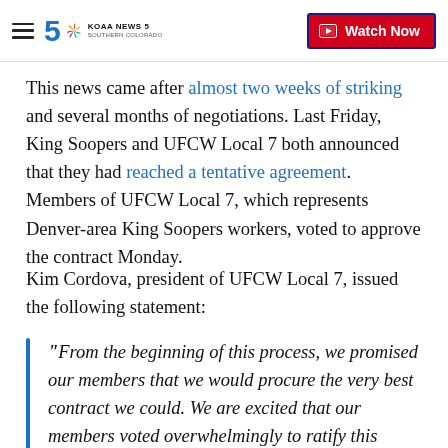KOAA News 5 Southern Colorado — Watch Now
This news came after almost two weeks of striking and several months of negotiations. Last Friday, King Soopers and UFCW Local 7 both announced that they had reached a tentative agreement. Members of UFCW Local 7, which represents Denver-area King Soopers workers, voted to approve the contract Monday.
Kim Cordova, president of UFCW Local 7, issued the following statement:
“From the beginning of this process, we promised our members that we would procure the very best contract we could. We are excited that our members voted overwhelmingly to ratify this industry-